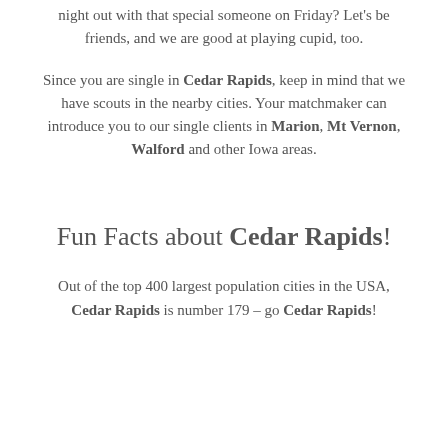night out with that special someone on Friday? Let's be friends, and we are good at playing cupid, too.
Since you are single in Cedar Rapids, keep in mind that we have scouts in the nearby cities. Your matchmaker can introduce you to our single clients in Marion, Mt Vernon, Walford and other Iowa areas.
Fun Facts about Cedar Rapids!
Out of the top 400 largest population cities in the USA, Cedar Rapids is number 179 – go Cedar Rapids!